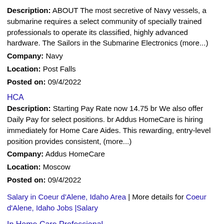Description: ABOUT The most secretive of Navy vessels, a submarine requires a select community of specially trained professionals to operate its classified, highly advanced hardware. The Sailors in the Submarine Electronics (more...)
Company: Navy
Location: Post Falls
Posted on: 09/4/2022
HCA
Description: Starting Pay Rate now 14.75 br We also offer Daily Pay for select positions. br Addus HomeCare is hiring immediately for Home Care Aides. This rewarding, entry-level position provides consistent, (more...)
Company: Addus HomeCare
Location: Moscow
Posted on: 09/4/2022
Salary in Coeur d'Alene, Idaho Area | More details for Coeur d'Alene, Idaho Jobs |Salary
In Home Care Professional
Description: Do you desire to work for an organization that makes a difference and offers meaningful work br Or perhaps have a desire to support the vulnerable and isolated population in your